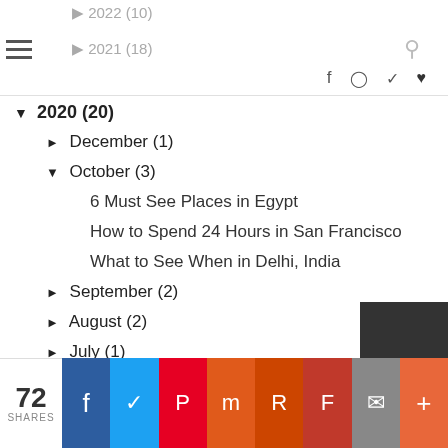2022 (10) | 2021 (18)
▼ 2020 (20)
► December (1)
▼ October (3)
6 Must See Places in Egypt
How to Spend 24 Hours in San Francisco
What to See When in Delhi, India
► September (2)
► August (2)
► July (1)
► June (2)
► March (3)
► February (4)
► January (2)
► 2019 (18)
► 2018 (41)
72 SHARES | Facebook | Twitter | Pinterest | Mix | Reddit | Flipboard | Email | More